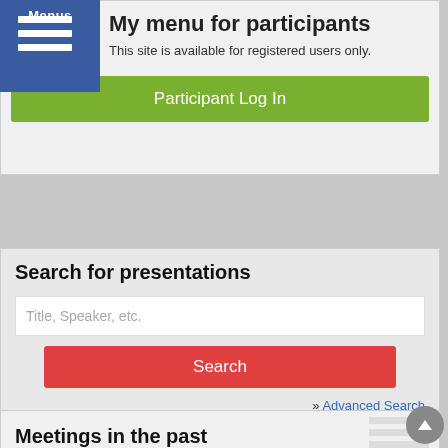My menu for participants
This site is available for registered users only.
Participant Log In
Search for presentations
Title, Speaker, etc.
Search
» Advanced Search
Meetings in the past
[Figure (screenshot): Mobile app advertisement showing iOS/Android Meeting Program & Abstract with More Details button and phone mockup]